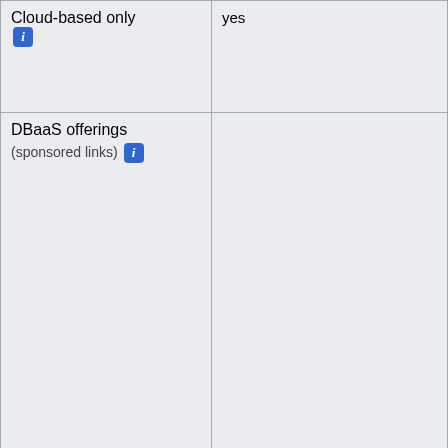| Cloud-based only [i] | yes |
| DBaaS offerings
(sponsored links) [i] |  |